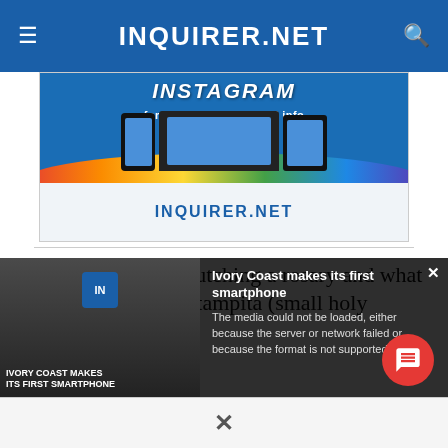INQUIRER.NET
[Figure (screenshot): Advertisement banner for INQUIRER.NET Instagram page showing devices (phone, laptop, tablet) with text 'INSTAGRAM for Philippine news and info' and INQUIRER.NET logo at bottom]
Her left hand was clutching a rosary and what appeared to be an estampita (small holy picture)
[Figure (screenshot): Video popup overlay showing 'Ivory Coast makes its first smartphone' with error message 'The media could not be loaded, either because the server or network failed or because the format is not supported.' and video thumbnail showing woman with text 'IVORY COAST MAKES ITS FIRST SMARTPHONE']